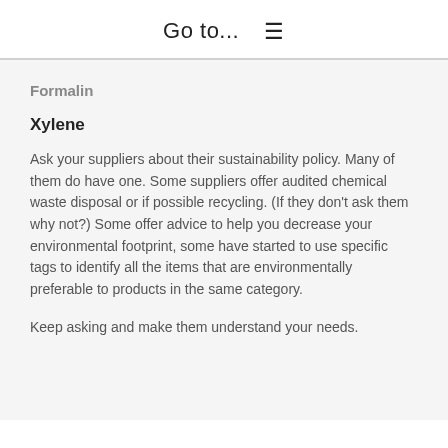Go to...  ☰
Formalin
Xylene
Ask your suppliers about their sustainability policy. Many of them do have one. Some suppliers offer audited chemical waste disposal or if possible recycling. (If they don't ask them why not?) Some offer advice to help you decrease your environmental footprint, some have started to use specific tags to identify all the items that are environmentally preferable to products in the same category.
Keep asking and make them understand your needs.